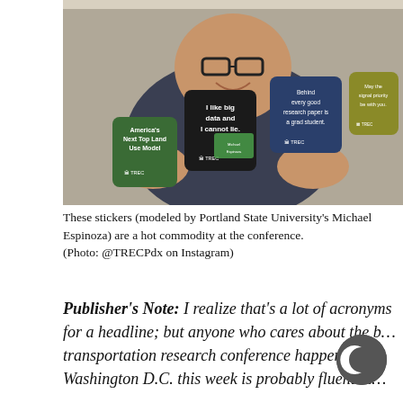[Figure (photo): A smiling young man (Portland State University's Michael Espinoza) holding up four TREC branded stickers with humorous text: 'America's Next Top Land Use Model', 'I like big data and I cannot lie.', 'Behind every good research paper is a grad student.', and 'May the signal priority be with you.']
These stickers (modeled by Portland State University's Michael Espinoza) are a hot commodity at the conference. (Photo: @TRECPdx on Instagram)
Publisher's Note: I realize that's a lot of acronyms for a headline; but anyone who cares about the b… transportation research conference happening in Washington D.C. this week is probably fluent in…